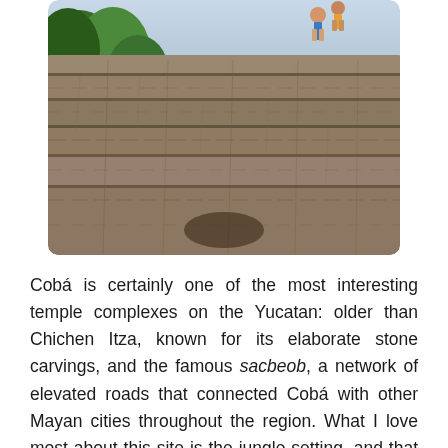[Figure (photo): Photo of ancient stone steps of a Mayan pyramid at Cobá. Two people are visible at the top of the steep stone staircase. Trees are visible in the background on the left side.]
Cobá is certainly one of the most interesting temple complexes on the Yucatan: older than Chichen Itza, known for its elaborate stone carvings, and the famous sacbeob, a network of elevated roads that connected Cobá with other Mayan cities throughout the region. What I love most about this site is the jungle setting, and that it is less crowded than the other Mayan ruins in the